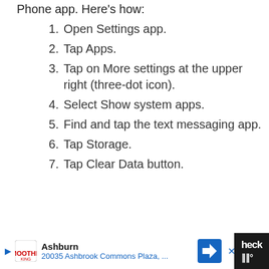Phone app. Here's how:
Open Settings app.
Tap Apps.
Tap on More settings at the upper right (three-dot icon).
Select Show system apps.
Find and tap the text messaging app.
Tap Storage.
Tap Clear Data button.
Ashburn 20035 Ashbrook Commons Plaza, ...